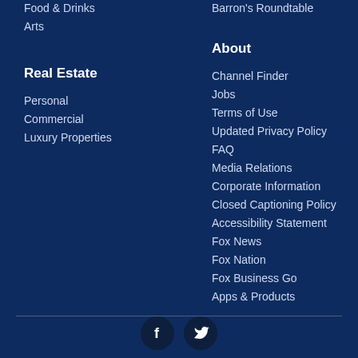Food & Drinks
Arts
Real Estate
Personal
Commercial
Luxury Properties
Barron's Roundtable
About
Channel Finder
Jobs
Terms of Use
Updated Privacy Policy
FAQ
Media Relations
Corporate Information
Closed Captioning Policy
Accessibility Statement
Fox News
Fox Nation
Fox Business Go
Apps & Products
[Figure (other): Social media icons: Facebook and Twitter]